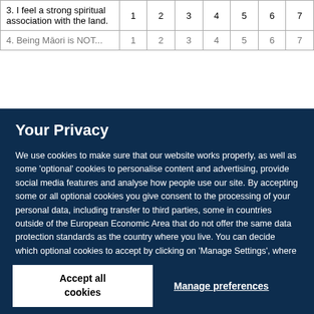|  | 1 | 2 | 3 | 4 | 5 | 6 | 7 |
| --- | --- | --- | --- | --- | --- | --- | --- |
| 3. I feel a strong spiritual association with the land. | 1 | 2 | 3 | 4 | 5 | 6 | 7 |
| 4. Being Māori is NOT... | 1 | 2 | 3 | 4 | 5 | 6 | 7 |
Your Privacy
We use cookies to make sure that our website works properly, as well as some 'optional' cookies to personalise content and advertising, provide social media features and analyse how people use our site. By accepting some or all optional cookies you give consent to the processing of your personal data, including transfer to third parties, some in countries outside of the European Economic Area that do not offer the same data protection standards as the country where you live. You can decide which optional cookies to accept by clicking on 'Manage Settings', where you can also find more information about how your personal data is processed. Further information can be found in our privacy policy.
Accept all cookies
Manage preferences